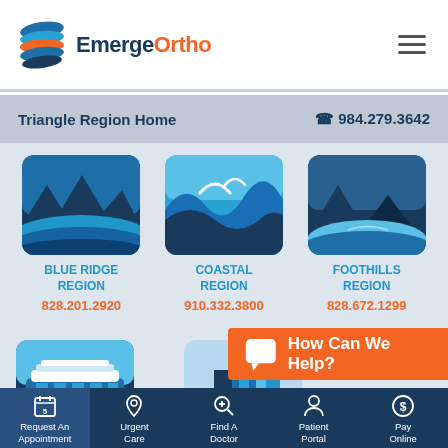[Figure (logo): EmergeOrtho logo with blue/orange ribbon icon and text 'EmergeOrtho']
Triangle Region Home  984.279.3642
[Figure (illustration): Blue Ridge Region illustration - blue mountain landscape]
BLUE RIDGE REGION
828.201.2920
[Figure (illustration): Coastal Region illustration - blue ocean wave]
COASTAL REGION
910.332.3800
[Figure (illustration): Foothills Region illustration - blue mountain lake scene]
FOOTHILLS REGION
828.672.1299
[Figure (illustration): Triad Region illustration - building/arena architecture]
TRIAD
[Figure (illustration): City skyline illustration in blue]
How Can We Help?
Request An Appointment | Urgent Care | Find A Doctor | Patient Portal | Pay Online